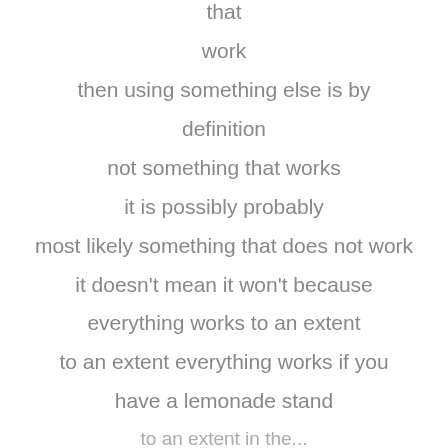that
work
then using something else is by
definition
not something that works
it is possibly probably
most likely something that does not work
it doesn't mean it won't because
everything works to an extent
to an extent everything works if you
have a lemonade stand
to an extent in the ...